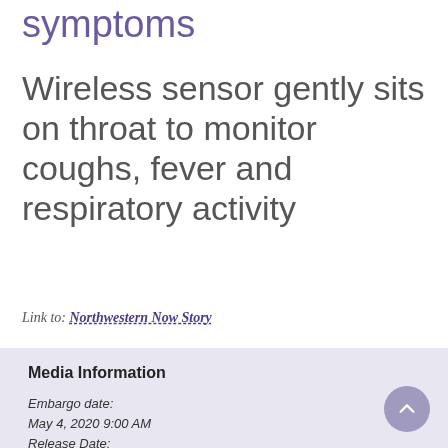symptoms
Wireless sensor gently sits on throat to monitor coughs, fever and respiratory activity
Link to: Northwestern Now Story
Media Information
Embargo date:
May 4, 2020 9:00 AM
Release Date:
May 4, 2020